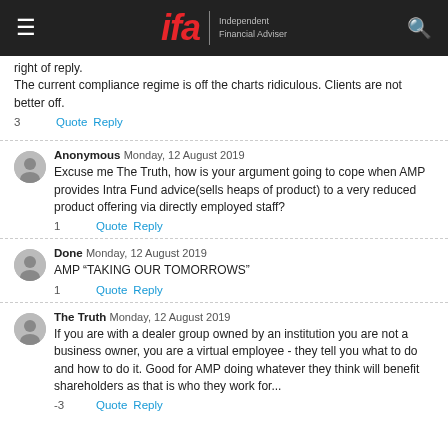ifa Independent Financial Adviser
right of reply.
The current compliance regime is off the charts ridiculous. Clients are not better off.
3   Quote  Reply
Anonymous  Monday, 12 August 2019
Excuse me The Truth, how is your argument going to cope when AMP provides Intra Fund advice(sells heaps of product) to a very reduced product offering via directly employed staff?
1   Quote  Reply
Done  Monday, 12 August 2019
AMP "TAKING OUR TOMORROWS"
1   Quote  Reply
The Truth  Monday, 12 August 2019
If you are with a dealer group owned by an institution you are not a business owner, you are a virtual employee - they tell you what to do and how to do it. Good for AMP doing whatever they think will benefit shareholders as that is who they work for...
-3   Quote  Reply